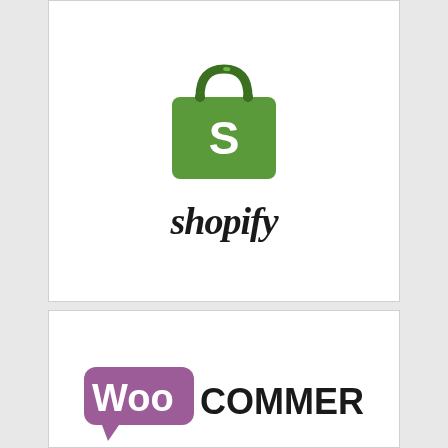[Figure (logo): Shopify logo: green shopping bag icon with white S, and 'shopify' text in dark italic font below]
[Figure (other): Black rectangular download button with white uppercase text 'DOWNLOAD']
[Figure (logo): WooCommerce logo: purple speech-bubble 'Woo' text and black 'COMMERCE' text]